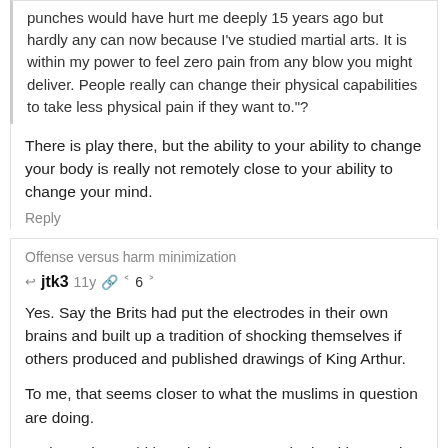punches would have hurt me deeply 15 years ago but hardly any can now because I've studied martial arts. It is within my power to feel zero pain from any blow you might deliver. People really can change their physical capabilities to take less physical pain if they want to."?
There is play there, but the ability to your ability to change your body is really not remotely close to your ability to change your mind.
Reply
Offense versus harm minimization
jtk3  11y  6
Yes. Say the Brits had put the electrodes in their own brains and built up a tradition of shocking themselves if others produced and published drawings of King Arthur.
To me, that seems closer to what the muslims in question are doing.
And people would be a lot less sympathetic with my Brits